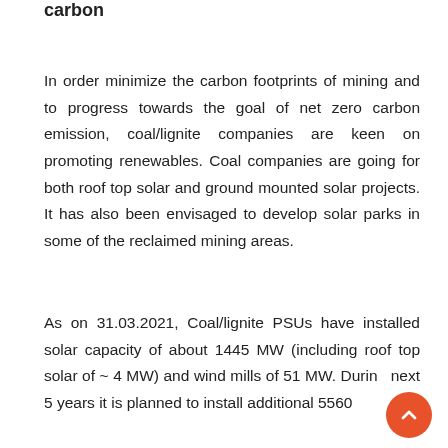carbon
In order minimize the carbon footprints of mining and to progress towards the goal of net zero carbon emission, coal/lignite companies are keen on promoting renewables. Coal companies are going for both roof top solar and ground mounted solar projects. It has also been envisaged to develop solar parks in some of the reclaimed mining areas.
As on 31.03.2021, Coal/lignite PSUs have installed solar capacity of about 1445 MW (including roof top solar of ~ 4 MW) and wind mills of 51 MW. During next 5 years it is planned to install additional 5560